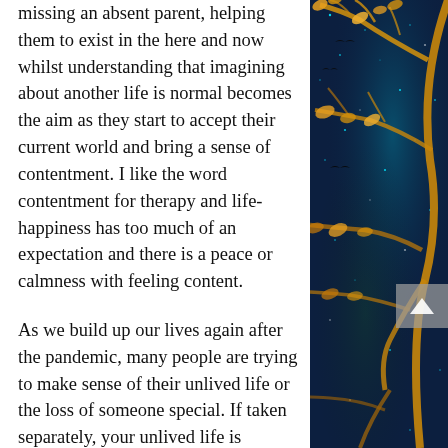missing an absent parent, helping them to exist in the here and now whilst understanding that imagining about another life is normal becomes the aim as they start to accept their current world and bring a sense of contentment. I like the word contentment for therapy and life- happiness has too much of an expectation and there is a peace or calmness with feeling content.
As we build up our lives again after the pandemic, many people are trying to make sense of their unlived life or the loss of someone special. If taken separately, your unlived life is repairable and there will be chances to explore the world or create opportunities again. But when we think of the unlived life and loss, they are one and the same. When we grieve, part of this is
[Figure (illustration): Decorative artistic illustration with dark blue/teal night sky background featuring golden glowing tree branches and leaves with bird silhouettes, glittering star-like sparkles throughout]